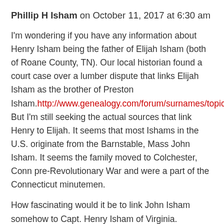Phillip H Isham on October 11, 2017 at 6:30 am
I'm wondering if you have any information about Henry Isham being the father of Elijah Isham (both of Roane County, TN). Our local historian found a court case over a lumber dispute that links Elijah Isham as the brother of Preston Isham.http://www.genealogy.com/forum/surnames/topics/isham/829/ But I'm still seeking the actual sources that link Henry to Elijah. It seems that most Ishams in the U.S. originate from the Barnstable, Mass John Isham. It seems the family moved to Colchester, Conn pre-Revolutionary War and were a part of the Connecticut minutemen.
How fascinating would it be to link John Isham somehow to Capt. Henry Isham of Virginia.